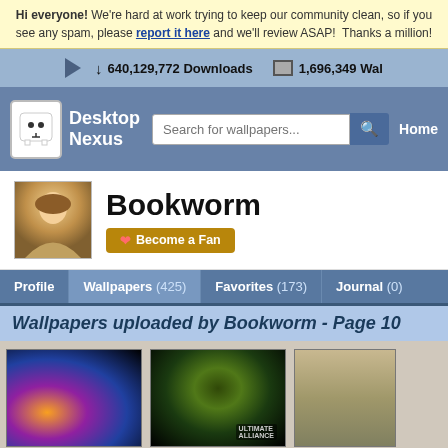Hi everyone! We're hard at work trying to keep our community clean, so if you see any spam, please report it here and we'll review ASAP! Thanks a million!
640,129,772 Downloads   1,696,349 Wal...
[Figure (screenshot): Desktop Nexus logo with white robot face icon and blue text]
Search for wallpapers...
Home
Bookworm
Become a Fan
Profile   Wallpapers (425)   Favorites (173)   Journal (0)
Wallpapers uploaded by Bookworm - Page 10
[Figure (photo): Dark fantasy/comic art wallpaper with glowing female figure with fire/light effects on dark background]
[Figure (photo): Marvel Ultimate Alliance - Doctor Doom green armored villain on dark green background]
[Figure (photo): Wildlife photo - zebras in natural habitat]
[Figure (photo): Bottom row wallpaper thumbnail 1 - dark blue]
[Figure (photo): Bottom row wallpaper thumbnail 2 - dark red]
[Figure (photo): Bottom row wallpaper thumbnail 3 - dark green]